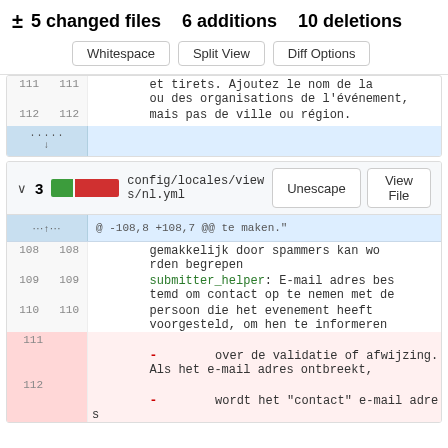± 5 changed files 6 additions 10 deletions
Whitespace  Split View  Diff Options
| old | new | content |
| --- | --- | --- |
| 111 | 111 | et tirets. Ajoutez le nom de la ou des organisations de l'événement, |
| 112 | 112 | mais pas de ville ou région. |
| ... |  |  |
v 3  config/locales/views/nl.yml  Unescape  View File
| old | new | sign | content |
| --- | --- | --- | --- |
| ... |  |  | @ -108,8 +108,7 @@ te maken." |
| 108 | 108 |  | gemakkelijk door spammers kan worden begrepen |
| 109 | 109 |  | submitter_helper: E-mail adres bestemd om contact op te nemen met de |
| 110 | 110 |  | persoon die het evenement heeft voorgesteld, om hen te informeren |
| 111 |  | - | over de validatie of afwijzing. Als het e-mail adres ontbreekt, |
| 112 |  | - | wordt het "contact" e-mail adres |